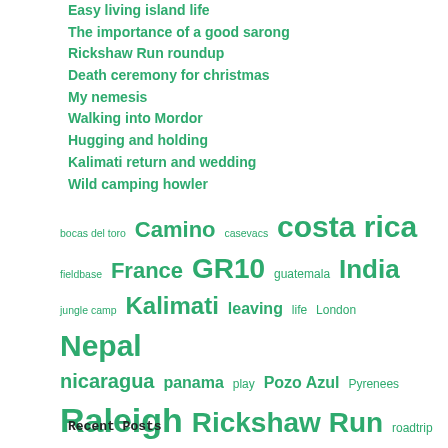Easy living island life
The importance of a good sarong
Rickshaw Run roundup
Death ceremony for christmas
My nemesis
Walking into Mordor
Hugging and holding
Kalimati return and wedding
Wild camping howler
[Figure (infographic): Word cloud with travel-related tags in green, varying sizes: bocas del toro, Camino, casevacs, costa rica, fieldbase, France, GR10, guatemala, India, jungle camp, Kalimati, leaving, life, London, Nepal, nicaragua, panama, play, Pozo Azul, Pyrenees, Raleigh, Rickshaw Run, roadtrip, SWCP, training, travel, trekking, upcycle, Uri, wildlife, working]
Recent Posts